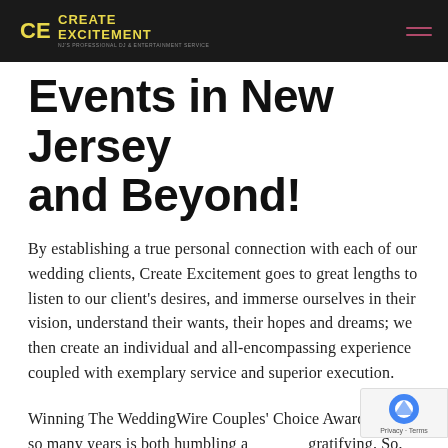Create Excitement — NJ Professional DJ & Entertainment Services
Events in New Jersey and Beyond!
By establishing a true personal connection with each of our wedding clients, Create Excitement goes to great lengths to listen to our client's desires, and immerse ourselves in their vision, understand their wants, their hopes and dreams; we then create an individual and all-encompassing experience coupled with exemplary service and superior execution.
Winning The WeddingWire Couples' Choice Awards® for so many years is both humbling and gratifying. So, thank you to all our clients who over the past 12-years have allowed the team at Create